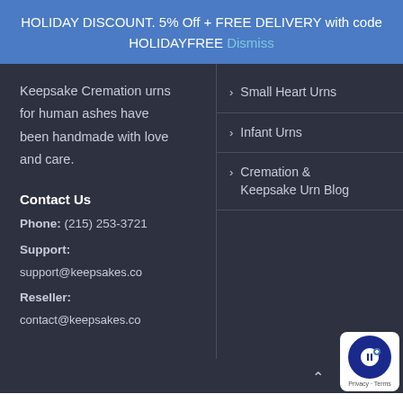HOLIDAY DISCOUNT. 5% Off + FREE DELIVERY with code HOLIDAYFREE Dismiss
Keepsake Cremation urns for human ashes have been handmade with love and care.
Small Heart Urns
Infant Urns
Cremation & Keepsake Urn Blog
Contact Us
Phone: (215) 253-3721
Support:
support@keepsakes.co
Reseller:
contact@keepsakes.co